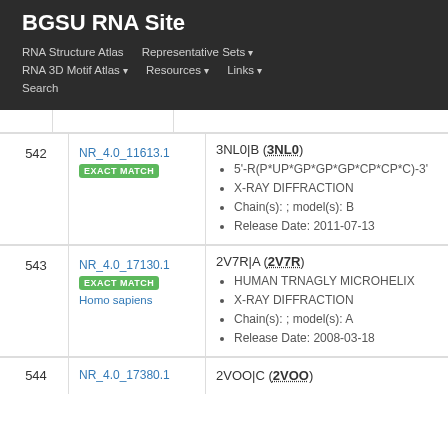BGSU RNA Site
RNA Structure Atlas | Representative Sets ▾ | RNA 3D Motif Atlas ▾ | Resources ▾ | Links ▾ | Search
| # | Identifier / Match | Structure Details |
| --- | --- | --- |
| 542 | NR_4.0_11613.1
EXACT MATCH | 3NL0|B (3NL0)
• 5'-R(P*UP*GP*GP*GP*CP*CP*C)-3'
• X-RAY DIFFRACTION
• Chain(s): ; model(s): B
• Release Date: 2011-07-13 |
| 543 | NR_4.0_17130.1
EXACT MATCH
Homo sapiens | 2V7R|A (2V7R)
• HUMAN TRNAGLY MICROHELIX
• X-RAY DIFFRACTION
• Chain(s): ; model(s): A
• Release Date: 2008-03-18 |
| 544 | NR_4.0_17380.1 | 2VOO|C (2VOO) |